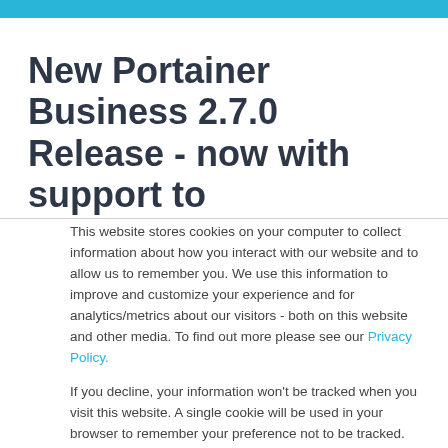New Portainer Business 2.7.0 Release - now with support to
This website stores cookies on your computer to collect information about how you interact with our website and to allow us to remember you. We use this information to improve and customize your experience and for analytics/metrics about our visitors - both on this website and other media. To find out more please see our Privacy Policy.
If you decline, your information won't be tracked when you visit this website. A single cookie will be used in your browser to remember your preference not to be tracked.